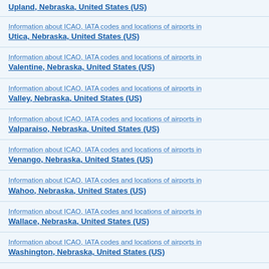Information about ICAO, IATA codes and locations of airports in Utica, Nebraska, United States (US)
Information about ICAO, IATA codes and locations of airports in Valentine, Nebraska, United States (US)
Information about ICAO, IATA codes and locations of airports in Valley, Nebraska, United States (US)
Information about ICAO, IATA codes and locations of airports in Valparaiso, Nebraska, United States (US)
Information about ICAO, IATA codes and locations of airports in Venango, Nebraska, United States (US)
Information about ICAO, IATA codes and locations of airports in Wahoo, Nebraska, United States (US)
Information about ICAO, IATA codes and locations of airports in Wallace, Nebraska, United States (US)
Information about ICAO, IATA codes and locations of airports in Washington, Nebraska, United States (US)
Information about ICAO, IATA codes and locations of airports in Wausa, Nebraska, United States (US)